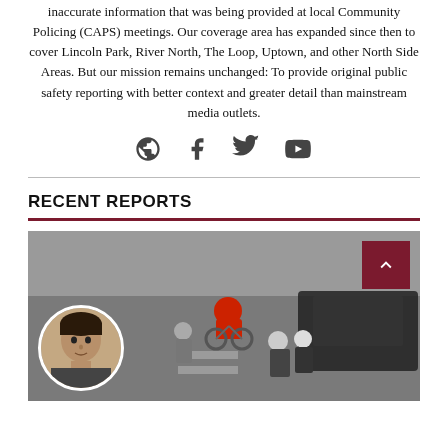inaccurate information that was being provided at local Community Policing (CAPS) meetings. Our coverage area has expanded since then to cover Lincoln Park, River North, The Loop, Uptown, and other North Side Areas. But our mission remains unchanged: To provide original public safety reporting with better context and greater detail than mainstream media outlets.
[Figure (infographic): Social media icons row: globe/website, Facebook, Twitter, YouTube]
RECENT REPORTS
[Figure (photo): Aerial/CCTV street scene showing people on bicycles and police officers, with a car visible. A circular inset photo of a young man's face is overlaid at bottom left. A dark red scroll-to-top button with an upward chevron is in the top right corner.]